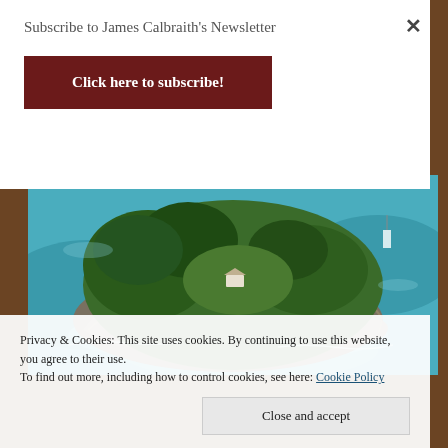Subscribe to James Calbraith's Newsletter
Click here to subscribe!
[Figure (photo): Aerial photograph of a rocky green island surrounded by turquoise and blue sea water]
Privacy & Cookies: This site uses cookies. By continuing to use this website, you agree to their use.
To find out more, including how to control cookies, see here: Cookie Policy
Close and accept